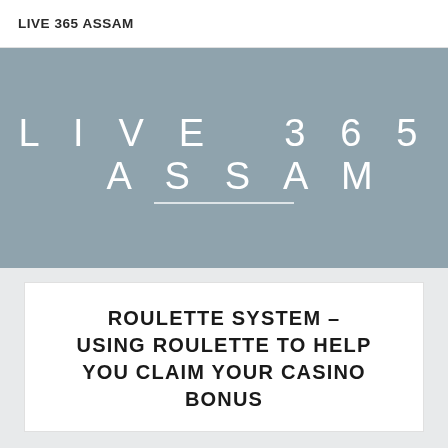LIVE 365 ASSAM
[Figure (logo): Hero banner with steel blue/grey background displaying the text 'LIVE 365 ASSAM' in large spaced white letters with a horizontal underline beneath '365'.]
ROULETTE SYSTEM – USING ROULETTE TO HELP YOU CLAIM YOUR CASINO BONUS